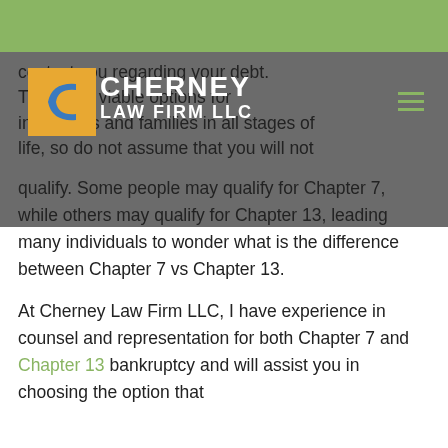[Figure (logo): Cherney Law Firm LLC logo with blue C on orange/yellow square background and white firm name text overlay on gray navigation bar]
contact you regarding your debt. There are viable options for individuals and families in all stages of life, so do not assume that you will not qualify. Some people may qualify for Chapter 7, while others may qualify for Chapter 13, leading many individuals to wonder what is the difference between Chapter 7 vs Chapter 13.
At Cherney Law Firm LLC, I have experience in counsel and representation for both Chapter 7 and Chapter 13 bankruptcy and will assist you in choosing the option that